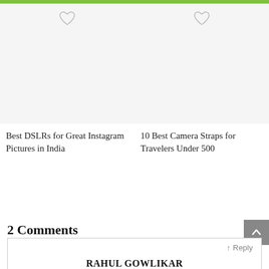[Figure (other): Green top navigation bar strip]
[Figure (photo): Card image placeholder with heart icon for Best DSLRs article]
Best DSLRs for Great Instagram Pictures in India
[Figure (photo): Card image placeholder with heart icon for 10 Best Camera Straps article]
10 Best Camera Straps for Travelers Under 500
2 Comments
RAHUL GOWLIKAR
August 25, 2018 at 4:02 pm